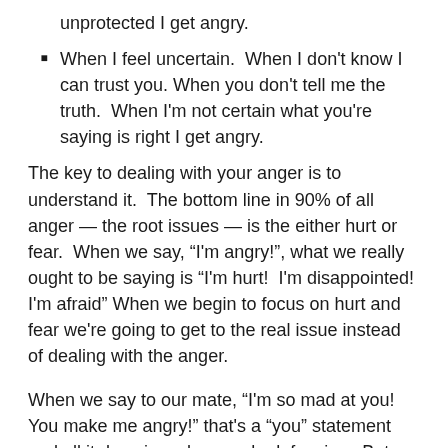unprotected I get angry.
When I feel uncertain.  When I don't know I can trust you. When you don't tell me the truth.  When I'm not certain what you're saying is right I get angry.
The key to dealing with your anger is to understand it.  The bottom line in 90% of all anger — the root issues — is the either hurt or fear.  When we say, “I'm angry!”, what we really ought to be saying is “I'm hurt!  I'm disappointed! I'm afraid” When we begin to focus on hurt and fear we're going to get to the real issue instead of dealing with the anger.
When we say to our mate, “I'm so mad at you!  You make me angry!” that's a “you” statement and all it does is make people defensive.  But when you say, “I'm hurt!” or “I'm afraid!” they are much more willing to listen.   Stay at the